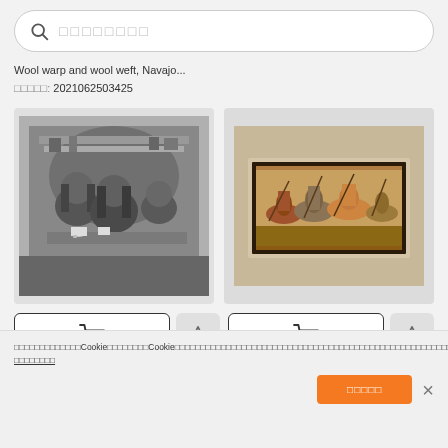□□□□□□□□ (search placeholder)
Wool warp and wool weft, Navajo...
□□□□□: 2021062503425
[Figure (photo): Black and white photograph of people in fur clothing seated at a table with cups and dishes]
[Figure (photo): Colorful tapestry or mosaic artwork with figures in a battle or hunting scene, framed in black]
Cookie notice banner in non-Latin script referencing Cookie policies
□□□□□□